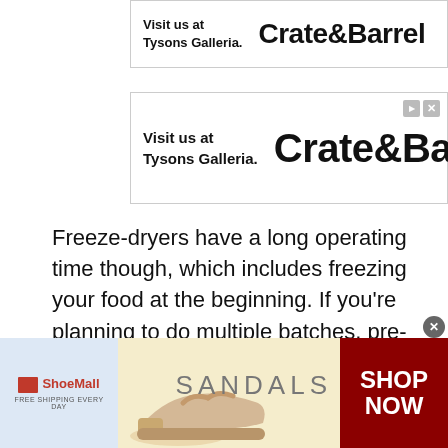[Figure (screenshot): Crate&Barrel advertisement banner (top, partial) - Visit us at Tysons Galleria.]
[Figure (screenshot): Crate&Barrel advertisement banner - Visit us at Tysons Galleria. With play and close icons.]
Freeze-dryers have a long operating time though, which includes freezing your food at the beginning. If you're planning to do multiple batches, pre-freezing the food will cut down how long you have to wait to be able to move onto the next one.
Step 3: Place the treat on the freeze-dryer trays
[Figure (screenshot): ShoeMall advertisement banner showing sandals image, SANDALS text, and SHOP NOW button in red.]